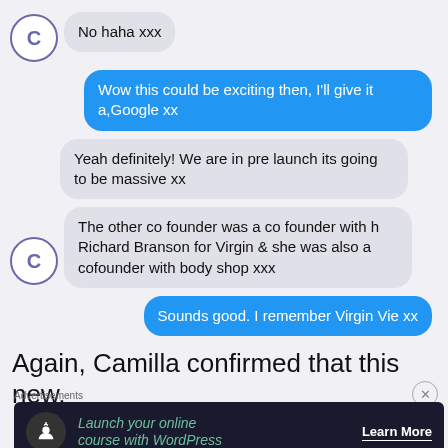[Figure (screenshot): Chat conversation screenshot showing messages between two users. Left side (C avatar): 'No haha xxx', 'Yeah definitely! We are in pre launch its going to be massive xx', 'The other co founder was a co founder with h Richard Branson for Virgin & she was also a cofounder with body shop xxx'. Right side (blue bubbles): 'Wow this could be exciting then, I'll give it a,Google xx', 'Sounds good. I remember Virgin Vie xx']
Again, Camilla confirmed that this new,
Advertisements
[Figure (screenshot): Advertisement banner: 'Launch your online course with WordPress' with Learn More button on dark background]